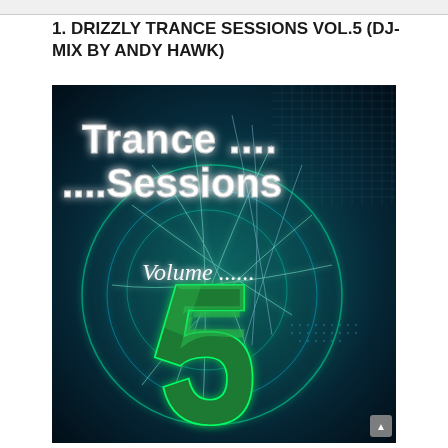1. DRIZZLY TRANCE SESSIONS VOL.5 (DJ-MIX BY ANDY HAWK)
[Figure (illustration): Album cover art for Drizzly Trance Sessions Volume 5. Dark teal/blue background with glowing green neon light streaks forming circular patterns. Large chrome/metallic green '5' logo in center. Text 'Trance .... ....Sessions' at top in white bold font with shadow. Text 'Volume ......' in white italic script below. Digital grid and tech elements visible in background corners.]